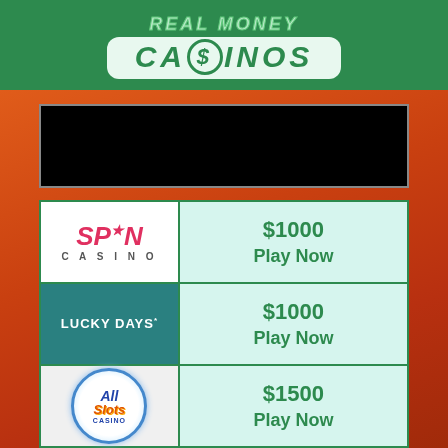[Figure (logo): Real Money Casinos logo — green banner with stylized text and dollar sign emblem]
[Figure (photo): Redacted black banner over casino promotional background image with orange/red sunset tones]
| Casino | Offer |
| --- | --- |
| Spin Casino | $1000
Play Now |
| Lucky Days | $1000
Play Now |
| All Slots Casino | $1500
Play Now |